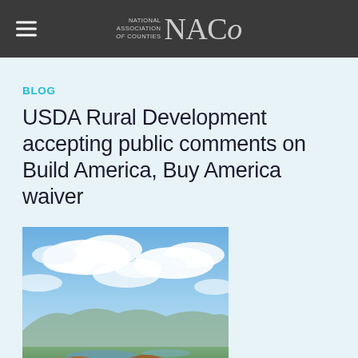NACo — National Association of Counties
BLOG
USDA Rural Development accepting public comments on Build America, Buy America waiver
[Figure (photo): Aerial landscape photograph showing rolling hills with autumn foliage in the foreground, a wide valley with farmland and water in the middle ground, and a partly cloudy blue sky above.]